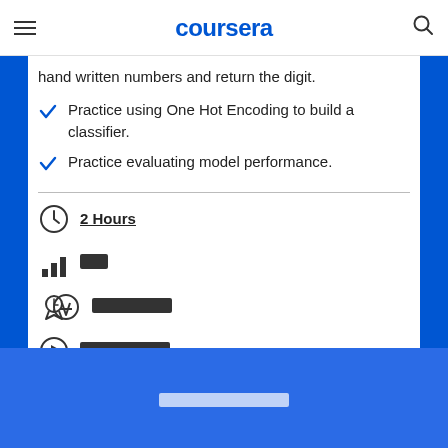coursera
hand written numbers and return the digit.
Practice using One Hot Encoding to build a classifier.
Practice evaluating model performance.
2 Hours
[redacted]
[redacted]
[redacted]
[redacted footer button]